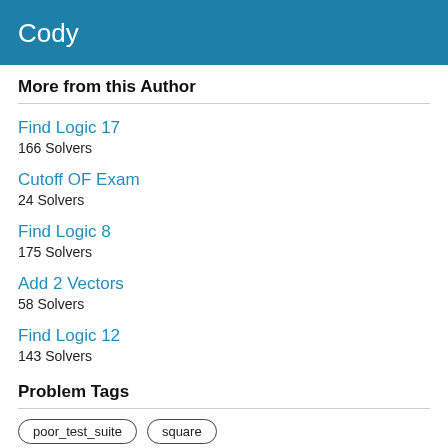Cody
More from this Author
Find Logic 17
166 Solvers
Cutoff OF Exam
24 Solvers
Find Logic 8
175 Solvers
Add 2 Vectors
58 Solvers
Find Logic 12
143 Solvers
Problem Tags
poor_test_suite   square